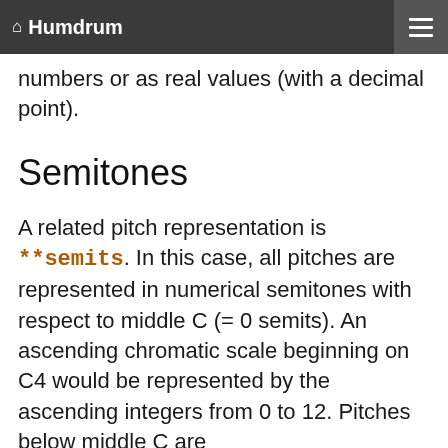Humdrum
numbers or as real values (with a decimal point).
Semitones
A related pitch representation is **semits. In this case, all pitches are represented in numerical semitones with respect to middle C (= 0 semits). An ascending chromatic scale beginning on C4 would be represented by the ascending integers from 0 to 12. Pitches below middle C are